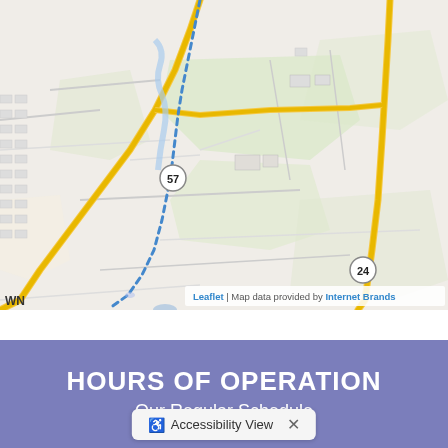[Figure (map): Street map showing route 57 and route 24 in a small town area, with roads, green fields, and a blue dotted route line. Map data provided by Internet Brands via Leaflet.]
Leaflet | Map data provided by Internet Brands
HOURS OF OPERATION
Our Regular Schedule
Accessibility View